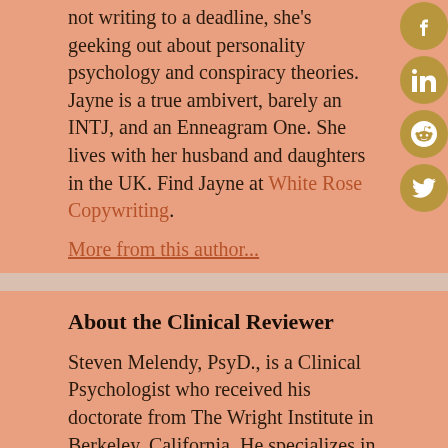not writing to a deadline, she's geeking out about personality psychology and conspiracy theories. Jayne is a true ambivert, barely an INTJ, and an Enneagram One. She lives with her husband and daughters in the UK. Find Jayne at White Rose Copywriting.
More from this author...
About the Clinical Reviewer
Steven Melendy, PsyD., is a Clinical Psychologist who received his doctorate from The Wright Institute in Berkeley, California. He specializes in using evidence-based approaches in his work with individuals and...